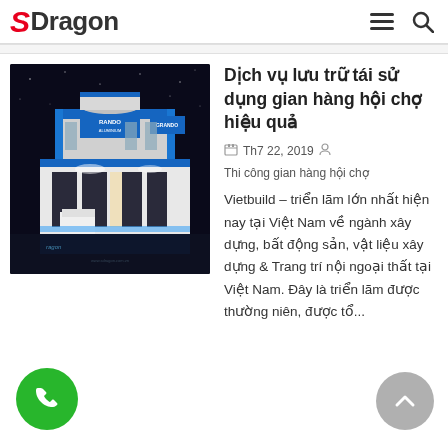SDragon
[Figure (photo): Exhibition booth photo showing Grando Aluminium two-storey display stand with blue and white colors, illuminated interior]
Dịch vụ lưu trữ tái sử dụng gian hàng hội chợ hiệu quả
Th7 22, 2019  Thi công gian hàng hội chợ
Vietbuild – triển lãm lớn nhất hiện nay tại Việt Nam về ngành xây dựng, bất động sản, vật liệu xây dựng & Trang trí nội ngoại thất tại Việt Nam. Đây là triển lãm được thường niên, được tổ...